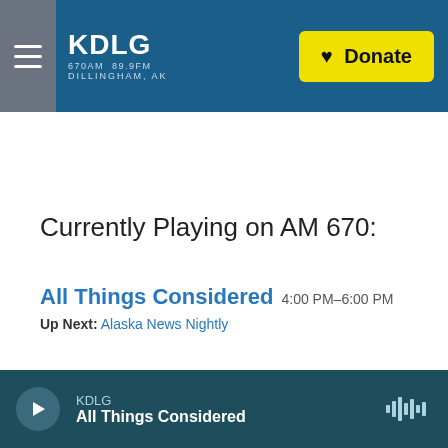KDLG 670AM 89.9FM DILLINGHAM, AK — Donate
Currently Playing on AM 670:
All Things Considered 4:00 PM–6:00 PM
Up Next: Alaska News Nightly
KDLG All Things Considered